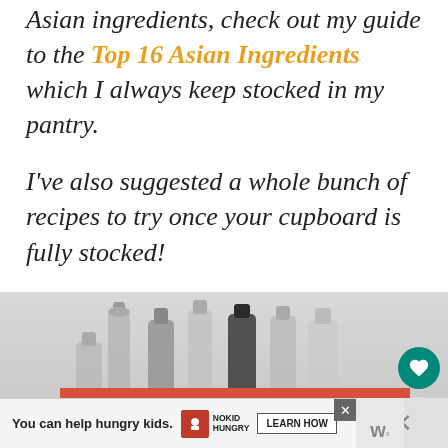Asian ingredients, check out my guide to the Top 16 Asian Ingredients which I always keep stocked in my pantry.
I've also suggested a whole bunch of recipes to try once your cupboard is fully stocked!
[Figure (photo): Multiple glass bottles of various Asian condiments and sauces arranged in a row on a light grey background, with a red banner overlay at the bottom beginning to show the word ASIAN]
You can help hungry kids. NOKID HUNGRY LEARN HOW